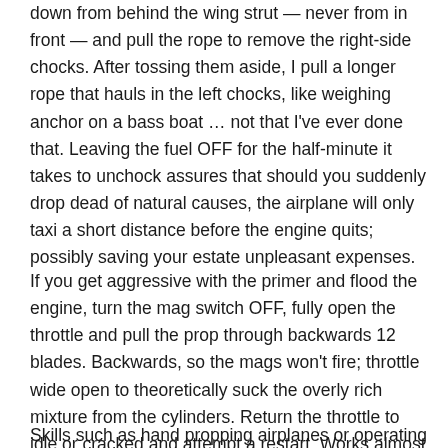down from behind the wing strut — never from in front — and pull the rope to remove the right-side chocks. After tossing them aside, I pull a longer rope that hauls in the left chocks, like weighing anchor on a bass boat … not that I've ever done that. Leaving the fuel OFF for the half-minute it takes to unchock assures that should you suddenly drop dead of natural causes, the airplane will only taxi a short distance before the engine quits; possibly saving your estate unpleasant expenses.
If you get aggressive with the primer and flood the engine, turn the mag switch OFF, fully open the throttle and pull the prop through backwards 12 blades. Backwards, so the mags won't fire; throttle wide open to theoretically suck the overly rich mixture from the cylinders. Return the throttle to idle or cracked and attempt a restart. Works almost every time.
Skills such as hand propping airplanes or operating a